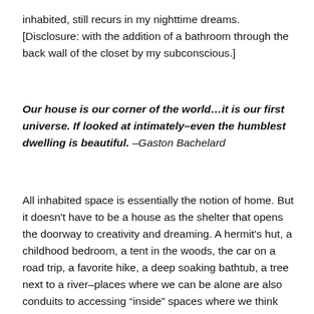inhabited, still recurs in my nighttime dreams. [Disclosure: with the addition of a bathroom through the back wall of the closet by my subconscious.]
Our house is our corner of the world…it is our first universe. If looked at intimately–even the humblest dwelling is beautiful. –Gaston Bachelard
All inhabited space is essentially the notion of home. But it doesn't have to be a house as the shelter that opens the doorway to creativity and dreaming. A hermit's hut, a childhood bedroom, a tent in the woods, the car on a road trip, a favorite hike, a deep soaking bathtub, a tree next to a river–places where we can be alone are also conduits to accessing “inside” spaces where we think and dream and create. Even the humblest, most primitive space can be this place.